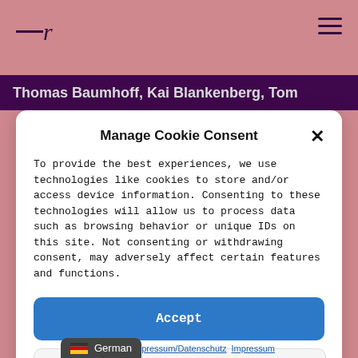—r
Thomas Baumhoff, Kai Blankenberg, Tom
Manage Cookie Consent
To provide the best experiences, we use technologies like cookies to store and/or access device information. Consenting to these technologies will allow us to process data such as browsing behavior or unique IDs on this site. Not consenting or withdrawing consent, may adversely affect certain features and functions.
Accept
Deny
View preferences
Datenschutz  Impressum/Datenschutz  Impressum
German